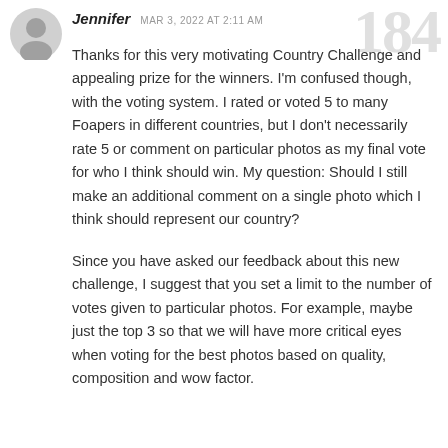[Figure (illustration): Circular avatar/profile picture placeholder with a generic person silhouette icon in gray]
Jennifer   MAR 3, 2022 AT 2:11 AM
Thanks for this very motivating Country Challenge and appealing prize for the winners. I'm confused though, with the voting system. I rated or voted 5 to many Foapers in different countries, but I don't necessarily rate 5 or comment on particular photos as my final vote for who I think should win. My question: Should I still make an additional comment on a single photo which I think should represent our country?

Since you have asked our feedback about this new challenge, I suggest that you set a limit to the number of votes given to particular photos. For example, maybe just the top 3 so that we will have more critical eyes when voting for the best photos based on quality, composition and wow factor.